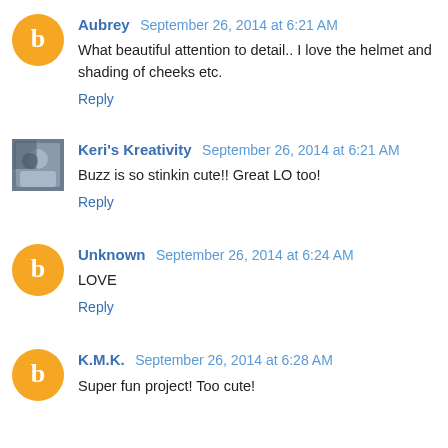Aubrey  September 26, 2014 at 6:21 AM
What beautiful attention to detail.. I love the helmet and shading of cheeks etc.
Reply
Keri's Kreativity  September 26, 2014 at 6:21 AM
Buzz is so stinkin cute!! Great LO too!
Reply
Unknown  September 26, 2014 at 6:24 AM
LOVE
Reply
K.M.K.  September 26, 2014 at 6:28 AM
Super fun project! Too cute!